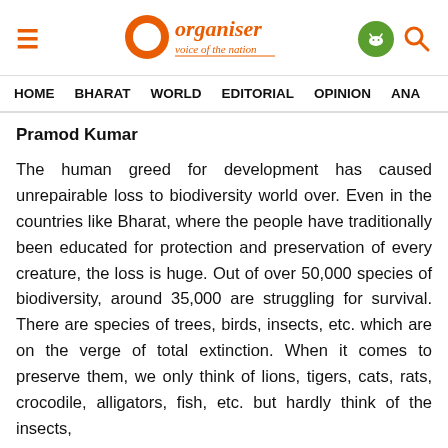Organiser — voice of the nation
HOME   BHARAT   WORLD   EDITORIAL   OPINION   ANA
Pramod Kumar
The human greed for development has caused unrepairable loss to biodiversity world over. Even in the countries like Bharat, where the people have traditionally been educated for protection and preservation of every creature, the loss is huge. Out of over 50,000 species of biodiversity, around 35,000 are struggling for survival. There are species of trees, birds, insects, etc. which are on the verge of total extinction. When it comes to preserve them, we only think of lions, tigers, cats, rats, crocodile, alligators, fish, etc. but hardly think of the insects,